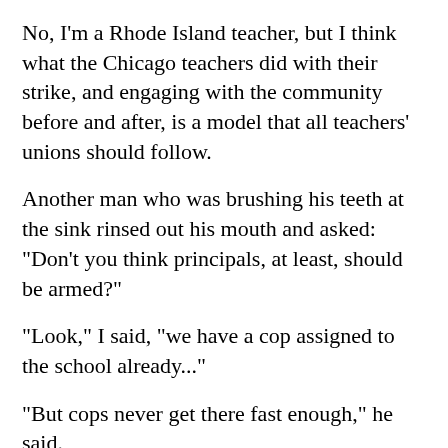No, I'm a Rhode Island teacher, but I think what the Chicago teachers did with their strike, and engaging with the community before and after, is a model that all teachers' unions should follow.
Another man who was brushing his teeth at the sink rinsed out his mouth and asked: "Don't you think principals, at least, should be armed?"
"Look," I said, "we have a cop assigned to the school already..."
"But cops never get there fast enough," he said.
"But the cop is stationed in the school full time, and it's not helpful," I said. "Did you hear about the woman at that school in Georgia that stopped that guy from shooting up the school?"
I wasn't about to convince this man brushing his teeth at a rest stop at 3 a.m. that we don't need guns in schools, but at least I tried.